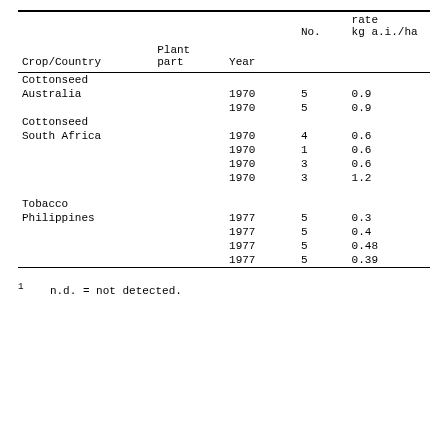| Crop/Country | Plant part | Year | No. | rate kg a.i./ha |
| --- | --- | --- | --- | --- |
| Cottonseed |  |  |  |  |
| Australia |  | 1970 | 5 | 0.9 |
|  |  | 1970 | 5 | 0.9 |
| Cottonseed |  |  |  |  |
| South Africa |  | 1970 | 4 | 0.6 |
|  |  | 1970 | 1 | 0.6 |
|  |  | 1970 | 3 | 0.6 |
|  |  | 1970 | 3 | 1.2 |
| Tobacco |  |  |  |  |
| Philippines |  | 1977 | 5 | 0.3 |
|  |  | 1977 | 5 | 0.4 |
|  |  | 1977 | 5 | 0.48 |
|  |  | 1977 | 5 | 0.39 |
1  n.d. = not detected.